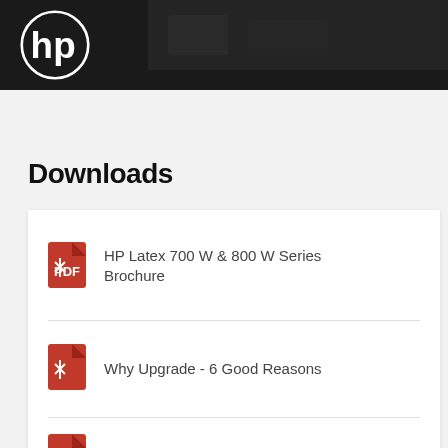[Figure (photo): HP logo on dark background, product photo header]
Downloads
HP Latex 700 W & 800 W Series Brochure
Why Upgrade - 6 Good Reasons
Grow Your Margins With 6 Print Jobs